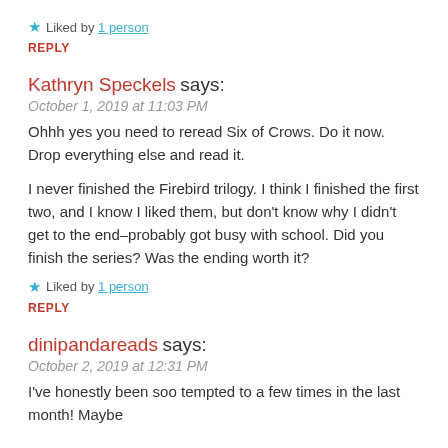★ Liked by 1 person
REPLY
Kathryn Speckels says:
October 1, 2019 at 11:03 PM
Ohhh yes you need to reread Six of Crows. Do it now. Drop everything else and read it.
I never finished the Firebird trilogy. I think I finished the first two, and I know I liked them, but don't know why I didn't get to the end–probably got busy with school. Did you finish the series? Was the ending worth it?
★ Liked by 1 person
REPLY
dinipandareads says:
October 2, 2019 at 12:31 PM
I've honestly been soo tempted to a few times in the last month! Maybe